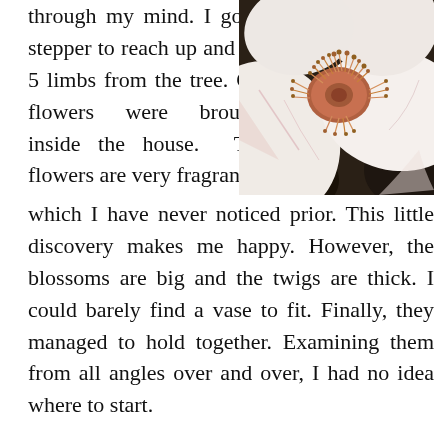through my mind. I got a stepper to reach up and cut 5 limbs from the tree. Cut flowers were brought inside the house. The flowers are very fragrant which I have never noticed prior. This little discovery makes me happy. However, the blossoms are big and the twigs are thick. I could barely find a vase to fit. Finally, they managed to hold together. Examining them from all angles over and over, I had no idea where to start.
[Figure (photo): Close-up macro photograph of a magnolia flower center showing pink and white petals with a prominent red-tipped stamen cluster in the center, against a dark background.]
They are large, colorful, and curvy, but have no intricate details like most flowers. A couple of flowers were in full bloom. I tried some Marco shots,